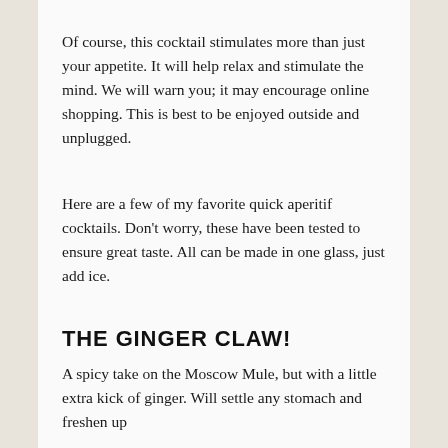Of course, this cocktail stimulates more than just your appetite. It will help relax and stimulate the mind. We will warn you; it may encourage online shopping. This is best to be enjoyed outside and unplugged.
Here are a few of my favorite quick aperitif cocktails. Don't worry, these have been tested to ensure great taste. All can be made in one glass, just add ice.
THE GINGER CLAW!
A spicy take on the Moscow Mule, but with a little extra kick of ginger. Will settle any stomach and freshen up